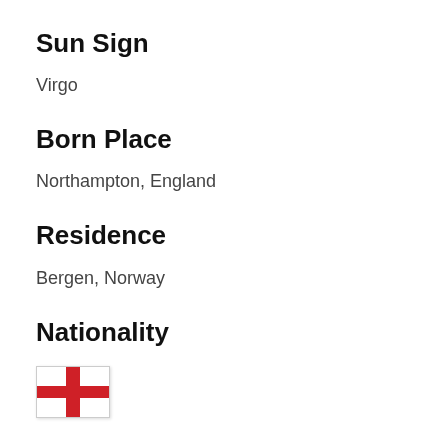Sun Sign
Virgo
Born Place
Northampton, England
Residence
Bergen, Norway
Nationality
[Figure (illustration): Flag of England — white background with red cross (St George's Cross)]
Occupation